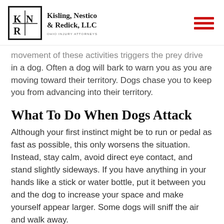Kisling, Nestico & Redick, LLC — OHIO INJURY ATTORNEYS
movement of these activities triggers the prey drive in a dog. Often a dog will bark to warn you as you are moving toward their territory. Dogs chase you to keep you from advancing into their territory.
What To Do When Dogs Attack
Although your first instinct might be to run or pedal as fast as possible, this only worsens the situation. Instead, stay calm, avoid direct eye contact, and stand slightly sideways. If you have anything in your hands like a stick or water bottle, put it between you and the dog to increase your space and make yourself appear larger. Some dogs will sniff the air and walk away.